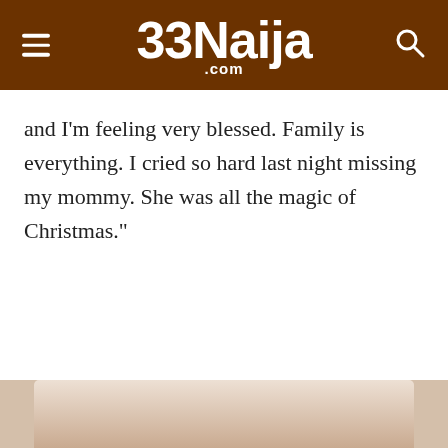33naija.com
and I'm feeling very blessed. Family is everything. I cried so hard last night missing my mommy. She was all the magic of Christmas."
[Figure (photo): Bottom portion of a photo visible at the bottom of the page, showing a light brownish/beige figure against a white background]